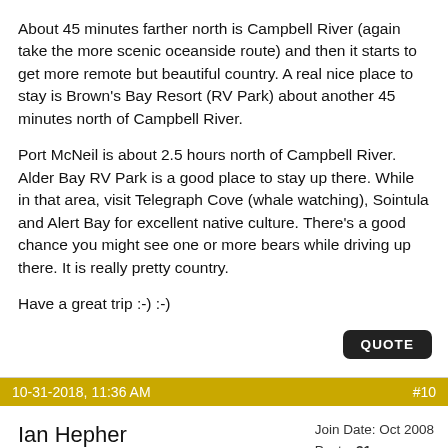About 45 minutes farther north is Campbell River (again take the more scenic oceanside route) and then it starts to get more remote but beautiful country. A real nice place to stay is Brown's Bay Resort (RV Park) about another 45 minutes north of Campbell River.
Port McNeil is about 2.5 hours north of Campbell River. Alder Bay RV Park is a good place to stay up there. While in that area, visit Telegraph Cove (whale watching), Sointula and Alert Bay for excellent native culture. There's a good chance you might see one or more bears while driving up there. It is really pretty country.
Have a great trip :-) :-)
10-31-2018, 11:36 AM   #10
Ian Hepher   Join Date: Oct 2008  Posts: 31  Registry
Tofino! A bit of a drive, but absolutely beautiful any time of year. Several great campgrounds, and world-class food!